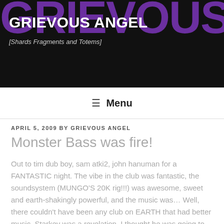GRIEVOUS ANGEL [Shards Fragments and Totems]
≡ Menu
APRIL 5, 2009 BY GRIEVOUS ANGEL
Monster Bass was fire!
Out to tim dub boy, sam atki2, john hanuman for a FANTASTIC night. The vibe in the club was fantastic, the soundsystem (MUNGO'S 20K rig!!!) was awesome, sweet and earth-shakingly powerful, and the music was… Well, there couldn't have been any club on EARTH that had better music. Starkey was a revelation. I thought he was going to be really good but nothing prepared me for just how glorious his sound was. It was simply street bass